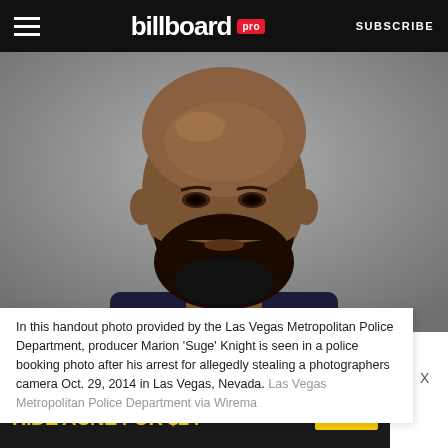billboard pro  SUBSCRIBE
[Figure (photo): Police booking/mugshot photo of Marion 'Suge' Knight — bald African-American man with full dark beard, visible neck tattoos, wearing a dark shirt, against a gray background.]
In this handout photo provided by the Las Vegas Metropolitan Police Department, producer Marion 'Suge' Knight is seen in a police booking photo after his arrest for allegedly stealing a photographers camera Oct. 29, 2014 in Las Vegas, Nevada. Las Vegas Metropolitan Police Department via Wirema
[Figure (infographic): Advertisement banner: MEN'S SKINCARE HACK — HIDE ACNE FOR $24 — SPY logo]